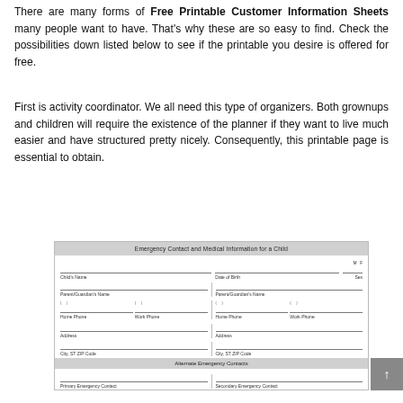There are many forms of Free Printable Customer Information Sheets many people want to have. That's why these are so easy to find. Check the possibilities down listed below to see if the printable you desire is offered for free.
First is activity coordinator. We all need this type of organizers. Both grownups and children will require the existence of the planner if they want to live much easier and have structured pretty nicely. Consequently, this printable page is essential to obtain.
[Figure (other): Emergency Contact and Medical Information for a Child form, showing fields for Child's Name, Date of Birth, Sex, Parent/Guardian's Name (two), Home Phone, Work Phone (for each guardian), Address (two), City/ST/ZIP Code (two), Alternate Emergency Contacts section header, Primary Emergency Contact and Secondary Emergency Contact fields.]